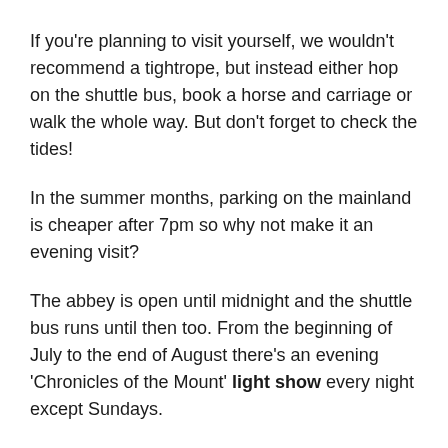If you're planning to visit yourself, we wouldn't recommend a tightrope, but instead either hop on the shuttle bus, book a horse and carriage or walk the whole way. But don't forget to check the tides!
In the summer months, parking on the mainland is cheaper after 7pm so why not make it an evening visit?
The abbey is open until midnight and the shuttle bus runs until then too. From the beginning of July to the end of August there's an evening 'Chronicles of the Mount' light show every night except Sundays.
Watch the video above to see this incredible record breaking feat.